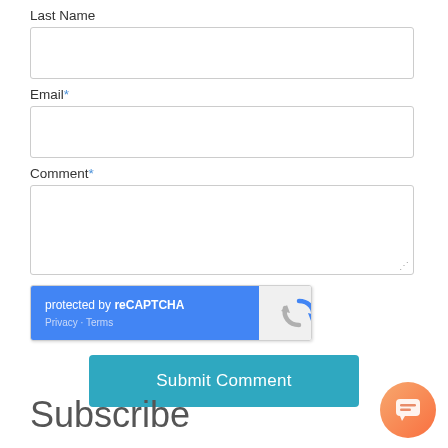Last Name
Email*
Comment*
[Figure (screenshot): reCAPTCHA widget with blue left panel showing 'protected by reCAPTCHA' and Privacy/Terms links, and a grey right panel with the reCAPTCHA circular arrow logo]
Submit Comment
Subscribe
[Figure (illustration): Orange/pink circular chat bubble button in bottom right corner]